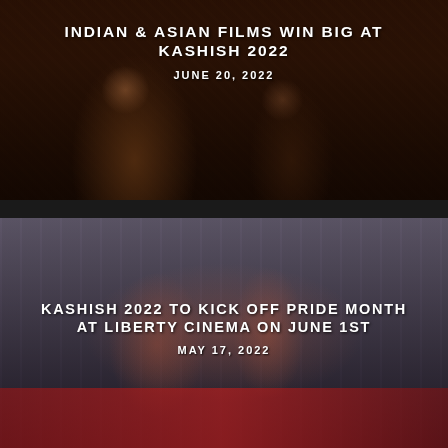[Figure (photo): Dark film still showing two men, one talking on phone, with warm reddish-brown tones]
INDIAN & ASIAN FILMS WIN BIG AT KASHISH 2022
JUNE 20, 2022
[Figure (photo): Colorful stage performance with dancers waving fans in blue, red, orange colors on a red stage floor]
KASHISH 2022 TO KICK OFF PRIDE MONTH AT LIBERTY CINEMA ON JUNE 1ST
MAY 17, 2022